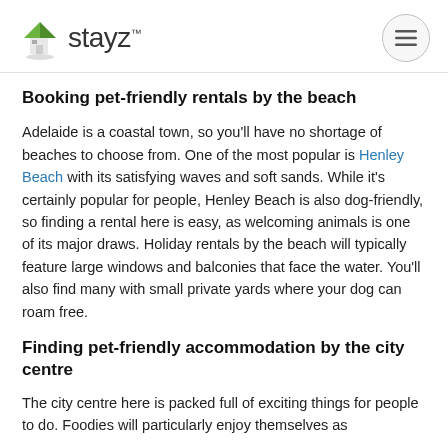stayz™
Booking pet-friendly rentals by the beach
Adelaide is a coastal town, so you'll have no shortage of beaches to choose from. One of the most popular is Henley Beach with its satisfying waves and soft sands. While it's certainly popular for people, Henley Beach is also dog-friendly, so finding a rental here is easy, as welcoming animals is one of its major draws. Holiday rentals by the beach will typically feature large windows and balconies that face the water. You'll also find many with small private yards where your dog can roam free.
Finding pet-friendly accommodation by the city centre
The city centre here is packed full of exciting things for people to do. Foodies will particularly enjoy themselves as